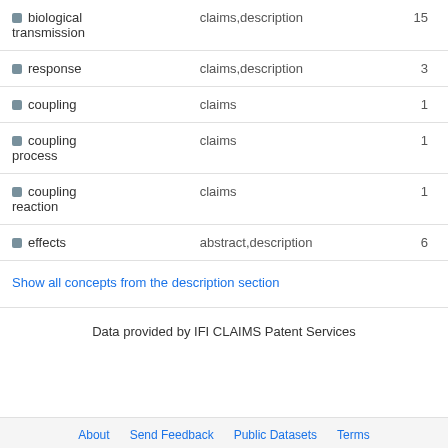| Concept | Location | Count |
| --- | --- | --- |
| biological transmission | claims,description | 15 |
| response | claims,description | 3 |
| coupling | claims | 1 |
| coupling process | claims | 1 |
| coupling reaction | claims | 1 |
| effects | abstract,description | 6 |
Show all concepts from the description section
Data provided by IFI CLAIMS Patent Services
About  Send Feedback  Public Datasets  Terms